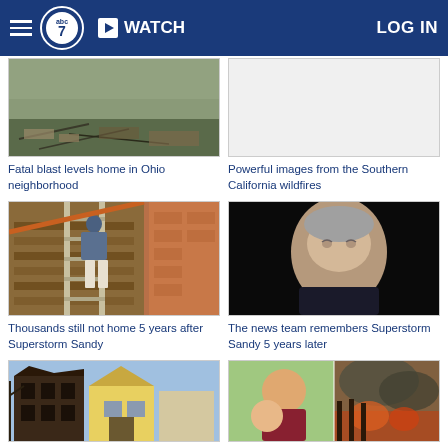ABC7 WATCH LOG IN
[Figure (photo): Debris and destruction from a home leveled by a blast in an Ohio neighborhood]
Fatal blast levels home in Ohio neighborhood
[Figure (photo): Powerful images from the Southern California wildfires - blank/white image placeholder]
Powerful images from the Southern California wildfires
[Figure (photo): Man on a ladder climbing between wooden beams against a brick wall - Superstorm Sandy recovery]
Thousands still not home 5 years after Superstorm Sandy
[Figure (photo): News anchor man against black background remembering Superstorm Sandy]
The news team remembers Superstorm Sandy 5 years later
[Figure (photo): Burned out abandoned brick buildings]
[Figure (photo): Composite of a father with young child selfie and wildfire smoke scene]